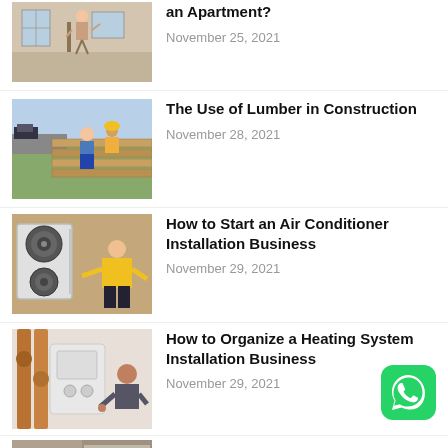[Figure (photo): Person standing in apartment under construction, drywall, windows]
an Apartment?
November 25, 2021
[Figure (photo): Workers on a construction site handling lumber]
The Use of Lumber in Construction
November 28, 2021
[Figure (photo): Technician installing air conditioner units on exterior wall]
How to Start an Air Conditioner Installation Business
November 29, 2021
[Figure (photo): Person installing a heating system with copper pipes]
How to Organize a Heating System Installation Business
November 29, 2021
[Figure (photo): Partially visible article thumbnail at bottom of page]